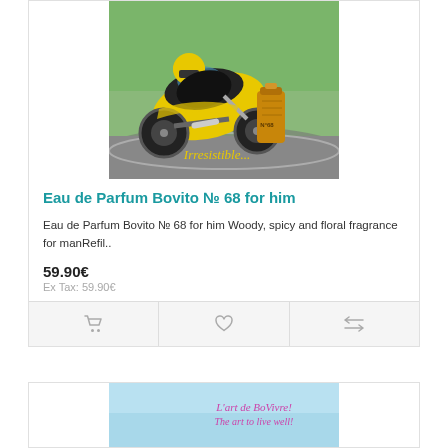[Figure (photo): Yellow and black motorcycle racing on track with a perfume bottle (Bovito No 68) superimposed, text 'Irresistible...' in yellow italic]
Eau de Parfum Bovito № 68 for him
Eau de Parfum Bovito № 68 for him Woody, spicy and floral fragrance for manRefil..
59.90€
Ex Tax: 59.90€
[Figure (photo): Second product card partially visible: sky background with text 'L'art de BoVivre! The art to live well!' in pink/magenta italic]